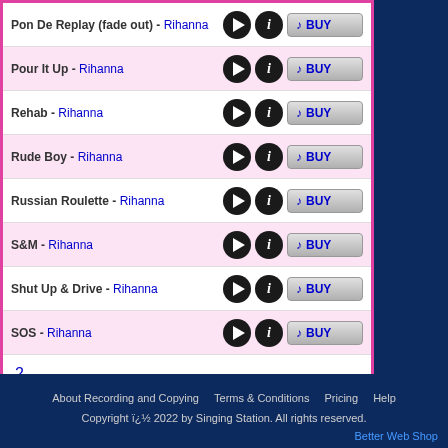Pon De Replay (fade out) - Rihanna [Play] [Info] [BUY]
Pour It Up - Rihanna [Play] [Info] [BUY]
Rehab - Rihanna [Play] [Info] [BUY]
Rude Boy - Rihanna [Play] [Info] [BUY]
Russian Roulette - Rihanna [Play] [Info] [BUY]
S&M - Rihanna [Play] [Info] [BUY]
Shut Up & Drive - Rihanna [Play] [Info] [BUY]
SOS - Rihanna [Play] [Info] [BUY]
2
About Recording and Copying   Terms & Conditions   Pricing   Help
Copyright ï¿½ 2022 by Singing Station. All rights reserved.
Better Web Shop